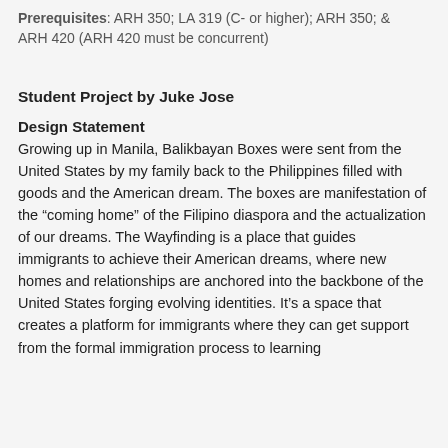Prerequisites: ARH 350; LA 319 (C- or higher); ARH 350; & ARH 420 (ARH 420 must be concurrent)
Student Project by Juke Jose
Design Statement
Growing up in Manila, Balikbayan Boxes were sent from the United States by my family back to the Philippines filled with goods and the American dream. The boxes are manifestation of the “coming home” of the Filipino diaspora and the actualization of our dreams. The Wayfinding is a place that guides immigrants to achieve their American dreams, where new homes and relationships are anchored into the backbone of the United States forging evolving identities. It’s a space that creates a platform for immigrants where they can get support from the formal immigration process to learning